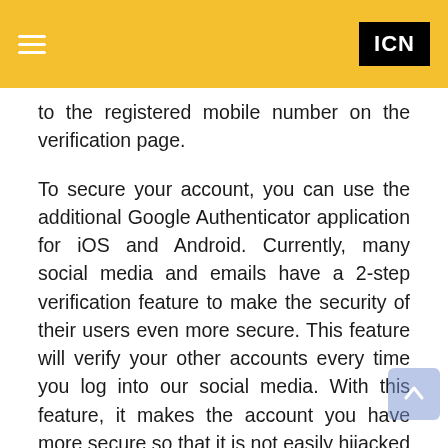ICN
to the registered mobile number on the verification page.
To secure your account, you can use the additional Google Authenticator application for iOS and Android. Currently, many social media and emails have a 2-step verification feature to make the security of their users even more secure. This feature will verify your other accounts every time you log into our social media. With this feature, it makes the account you have more secure so that it is not easily hijacked by criminals.
When you activate this feature, you will usually be given a code via SMS that you need to input when logging in to social media. Always be careful and alert when using the internet. Phishing is one of the negative sides in the digital world by asking for important information such as